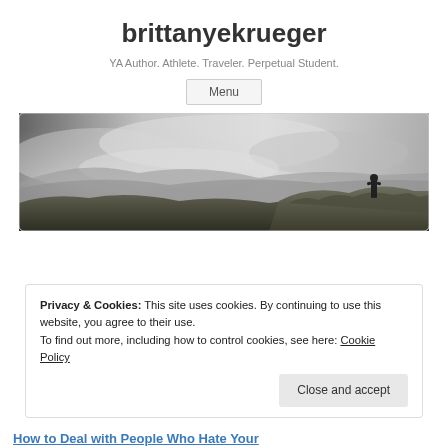brittanyekrueger
YA Author. Athlete. Traveler. Perpetual Student.
Menu
[Figure (photo): A person standing on a rocky hillside with misty cloudy mountains in the background, black and white/moody landscape photo.]
Privacy & Cookies: This site uses cookies. By continuing to use this website, you agree to their use.
To find out more, including how to control cookies, see here: Cookie Policy
Close and accept
How to Deal with People Who Hate Your